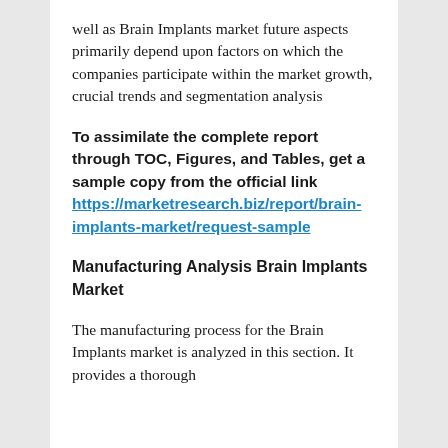well as Brain Implants market future aspects primarily depend upon factors on which the companies participate within the market growth, crucial trends and segmentation analysis
To assimilate the complete report through TOC, Figures, and Tables, get a sample copy from the official link https://marketresearch.biz/report/brain-implants-market/request-sample
Manufacturing Analysis Brain Implants Market
The manufacturing process for the Brain Implants market is analyzed in this section. It provides a thorough